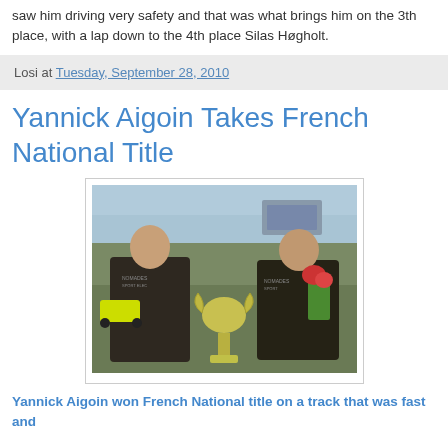saw him driving very safety and that was what brings him on the 3th place, with a lap down to the 4th place Silas Høgholt.
Losi at Tuesday, September 28, 2010
Yannick Aigoin Takes French National Title
[Figure (photo): Two men in dark brown hooded sweatshirts kneeling on grass at a race track. The man on the left holds a yellow RC car, the man on the right holds a bouquet of flowers. A large silver trophy cup sits between them.]
Yannick Aigoin won French National title on a track that was fast and